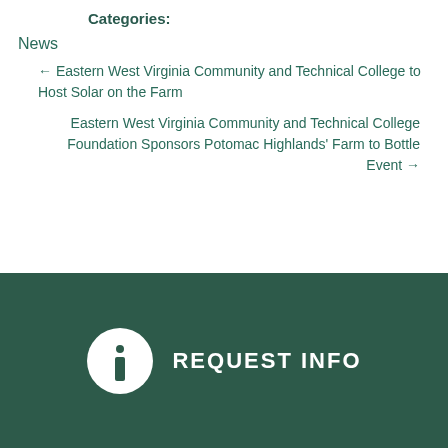Categories:
News
← Eastern West Virginia Community and Technical College to Host Solar on the Farm
Eastern West Virginia Community and Technical College Foundation Sponsors Potomac Highlands' Farm to Bottle Event →
REQUEST INFO